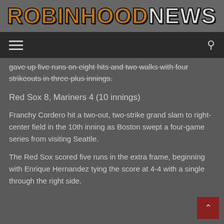[Figure (logo): Robin Hood News logo with orange/brown stylized block text on dark background]
[Figure (screenshot): Navigation bar with hamburger menu icon on left and search icon on right, dark background]
gave up five runs on eight hits and two walks with four strikeouts in three-plus innings.
Red Sox 8, Mariners 4 (10 innings)
Franchy Cordero hit a two-out, two-strike grand slam to right-center field in the 10th inning as Boston swept a four-game series from visiting Seattle.
The Red Sox scored five runs in the extra frame, beginning with Enrique Hernandez tying the score at 4-4 with a single through the right side.